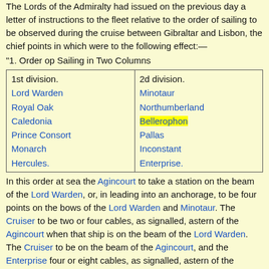The Lords of the Admiralty had issued on the previous day a letter of instructions to the fleet relative to the order of sailing to be observed during the cruise between Gibraltar and Lisbon, the chief points in which were to the following effect:—
"1. Order op Sailing in Two Columns
| 1st division. | 2d division. |
| --- | --- |
| Lord Warden | Minotaur |
| Royal Oak | Northumberland |
| Caledonia | Bellerophon |
| Prince Consort | Pallas |
| Monarch | Inconstant |
| Hercules. | Enterprise. |
In this order at sea the Agincourt to take a station on the beam of the Lord Warden, or, in leading into an anchorage, to be four points on the bows of the Lord Warden and Minotaur. The Cruiser to be two or four cables, as signalled, astern of the Agincourt when that ship is on the beam of the Lord Warden. The Cruiser to be on the beam of the Agincourt, and the Enterprise four or eight cables, as signalled, astern of the Agincourt, Cruiser and Enterprise to repeat signals.